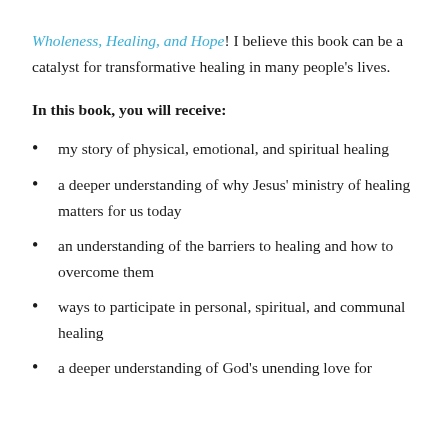Wholeness, Healing, and Hope! I believe this book can be a catalyst for transformative healing in many people's lives.
In this book, you will receive:
my story of physical, emotional, and spiritual healing
a deeper understanding of why Jesus' ministry of healing matters for us today
an understanding of the barriers to healing and how to overcome them
ways to participate in personal, spiritual, and communal healing
a deeper understanding of God's unending love for